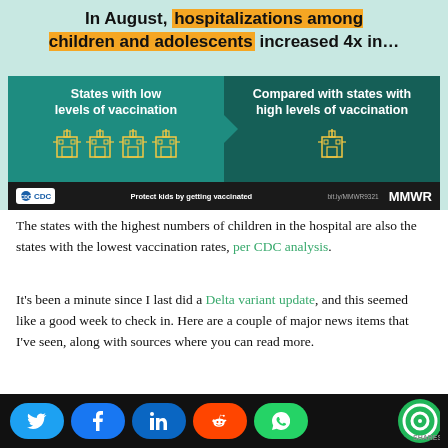[Figure (infographic): CDC infographic showing hospitalizations among children and adolescents increased 4x in states with low vaccination levels compared to states with high vaccination levels, with hospital building icons and CDC/MMWR branding]
The states with the highest numbers of children in the hospital are also the states with the lowest vaccination rates, per CDC analysis.
It’s been a minute since I last did a Delta variant update, and this seemed like a good week to check in. Here are a couple of major news items that I’ve seen, along with sources where you can read more.